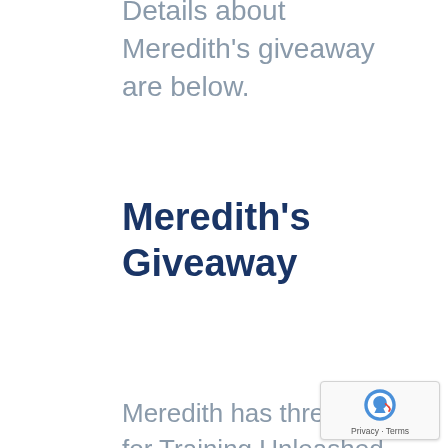Details about Meredith's giveaway are below.
Meredith's Giveaway
Meredith has three offers for Training Unleashed listeners.
A free ebook that will help you discover how to improve the way